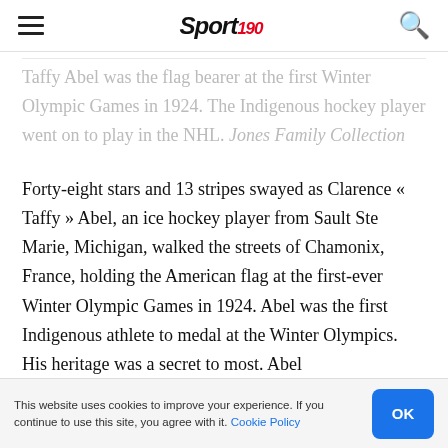Sport 190 [navigation header with hamburger menu and search icon]
Taffy Abel was the flag bearer at the first Winter Olympic Games in 1924. The Indigenous hockey player went on to play in the NHL. Jones Family Collection
Forty-eight stars and 13 stripes swayed as Clarence « Taffy » Abel, an ice hockey player from Sault Ste Marie, Michigan, walked the streets of Chamonix, France, holding the American flag at the first-ever Winter Olympic Games in 1924. Abel was the first Indigenous athlete to medal at the Winter Olympics. His heritage was a secret to most. Abel
This website uses cookies to improve your experience. If you continue to use this site, you agree with it. Cookie Policy